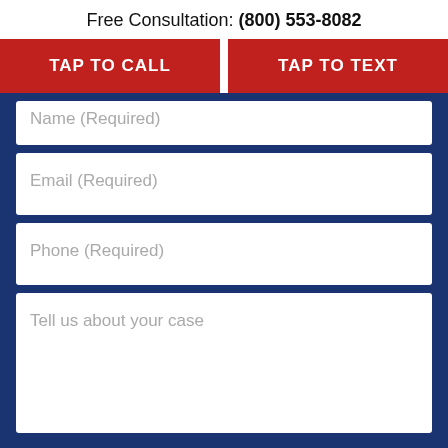Free Consultation: (800) 553-8082
TAP TO CALL
TAP TO TEXT
Name (Required)
Email (Required)
Phone (Required)
Tell us about your case
I understand that submitting this form does not create an attorney-client relationship. I also understand that Miller & Zois works with multiple law firms on these claims and that I may be contacted by an affiliated law firm.